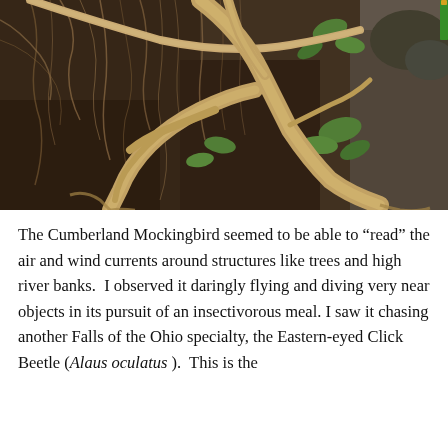[Figure (photo): Close-up photograph of exposed tree roots against a dark soil riverbank, with green leaves visible in the background. The roots are pale tan/beige colored and intertwine dramatically against the dark earth.]
The Cumberland Mockingbird seemed to be able to “read” the air and wind currents around structures like trees and high river banks.  I observed it daringly flying and diving very near objects in its pursuit of an insectivorous meal. I saw it chasing another Falls of the Ohio specialty, the Eastern-eyed Click Beetle (Alaus oculatus ).  This is the